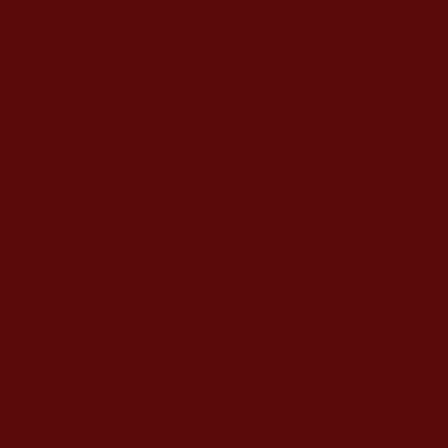GodSend said...
"One really can't put it
Yes, One can!
You are in good form h... humanly possible......B... "Dots", which MUST b... in front of our eyes.
Keep looking! (at my w...
Friday, June 04, 2...
Vanguard said...
Visible, I wanted to ad... word... chosen gift of shaming...
Scroll to Top